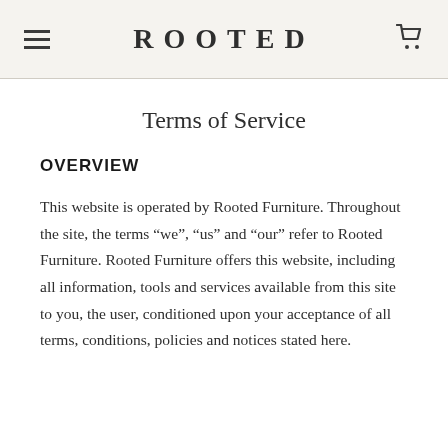ROOTED
Terms of Service
OVERVIEW
This website is operated by Rooted Furniture. Throughout the site, the terms “we”, “us” and “our” refer to Rooted Furniture. Rooted Furniture offers this website, including all information, tools and services available from this site to you, the user, conditioned upon your acceptance of all terms, conditions, policies and notices stated here.